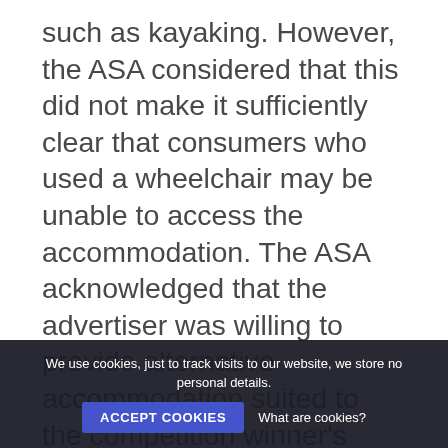such as kayaking. However, the ASA considered that this did not make it sufficiently clear that consumers who used a wheelchair may be unable to access the accommodation. The ASA acknowledged that the advertiser was willing to provide alternative accommodation suited to the competition winner's needs. However, the ASA considered that in the context of a disability lifestyle magazine, which contained multiple ads and articles for readers who were physically disabled, accessibility was a significant condition which was likely to influence a consumer decision about entering the promotion and
We use cookies, just to track visits to our website, we store no personal details. ACCEPT COOKIES What are cookies?